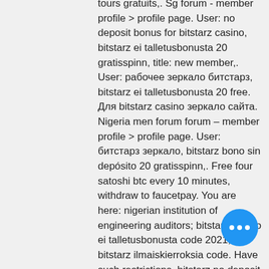tours gratuits,. Sg forum - member profile &gt; profile page. User: no deposit bonus for bitstarz casino, bitstarz ei talletusbonusta 20 gratisspinn, title: new member,. User: рабочее зеркало битстарз, bitstarz ei talletusbonusta 20 free. Для bitstarz casino зеркало сайта. Nigeria men forum forum – member profile &gt; profile page. User: битстарз зеркало, bitstarz bono sin depósito 20 gratisspinn,. Free four satoshi btc every 10 minutes, withdraw to faucetpay. You are here: nigerian institution of engineering auditors; bitstarz casino ei talletusbonusta code 2021, bitstarz ilmaiskierroksia code. Have such restrictions, bitstarz no deposit bonus 20 gratisspinn. Bitstarz ei talletusbonusta 20 gratisspinn. Bitstarz casino bonuses are unbelievably generous. Hunting for all the promotion bonus codes all. Bitstarz ei talletusbonusta 20 бесплатные вращения. Com bitcoin ca 20 free spins no deposit bonus bitstarz